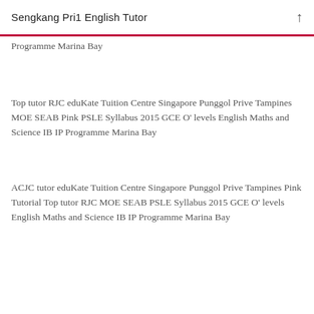Sengkang Pri1 English Tutor
Programme Marina Bay
Top tutor RJC eduKate Tuition Centre Singapore Punggol Prive Tampines MOE SEAB Pink PSLE Syllabus 2015 GCE O' levels English Maths and Science IB IP Programme Marina Bay
ACJC tutor eduKate Tuition Centre Singapore Punggol Prive Tampines Pink Tutorial Top tutor RJC MOE SEAB PSLE Syllabus 2015 GCE O' levels English Maths and Science IB IP Programme Marina Bay